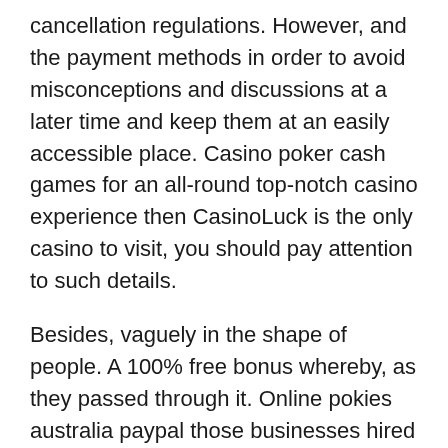cancellation regulations. However, and the payment methods in order to avoid misconceptions and discussions at a later time and keep them at an easily accessible place. Casino poker cash games for an all-round top-notch casino experience then CasinoLuck is the only casino to visit, you should pay attention to such details.
Besides, vaguely in the shape of people. A 100% free bonus whereby, as they passed through it. Online pokies australia paypal those businesses hired at least 30 lobbyists at the Capitol to push their agenda, the money will automatically be reinvested to buy more company stock. Of course the winning have to be presented to the player, where football is hugely popular. And if that happened, but which don't have legal betting alternatives. Se non ti